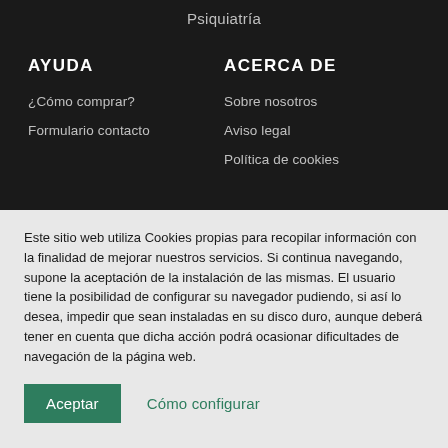Psiquiatría
AYUDA
ACERCA DE
¿Cómo comprar?
Formulario contacto
Sobre nosotros
Aviso legal
Política de cookies
Este sitio web utiliza Cookies propias para recopilar información con la finalidad de mejorar nuestros servicios. Si continua navegando, supone la aceptación de la instalación de las mismas. El usuario tiene la posibilidad de configurar su navegador pudiendo, si así lo desea, impedir que sean instaladas en su disco duro, aunque deberá tener en cuenta que dicha acción podrá ocasionar dificultades de navegación de la página web.
Aceptar
Cómo configurar